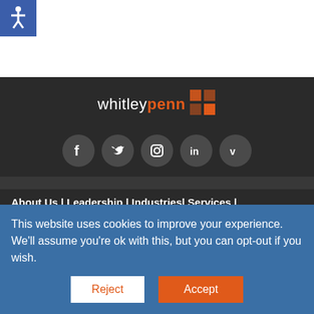[Figure (logo): Whitley Penn logo with orange grid squares and white text on dark background]
[Figure (other): Social media icons: Facebook, Twitter, Instagram, LinkedIn, Vimeo in dark circular buttons]
About Us | Leadership | Industries| Services |
This website uses cookies to improve your experience. We'll assume you're ok with this, but you can opt-out if you wish.